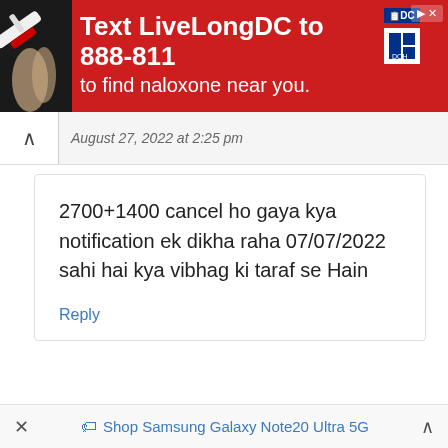[Figure (other): Red advertisement banner: Text LiveLongDC to 888-811 to find naloxone near you, with DC and DOH logos, syringe image on left]
August 27, 2022 at 2:25 pm
2700+1400 cancel ho gaya kya notification ek dikha raha 07/07/2022 sahi hai kya vibhag ki taraf se Hain
Reply
Leave a Comment